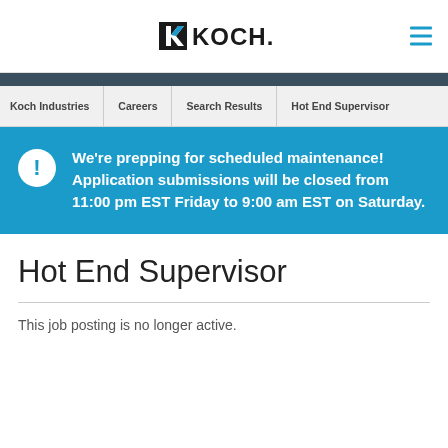KOCH.
Koch Industries   Careers   Search Results   Hot End Supervisor
We're prepping for scheduled maintenance! Application submissions will be closed from 11:00 pm EST Friday to 9:00 am EST on Saturday.
Hot End Supervisor
This job posting is no longer active.